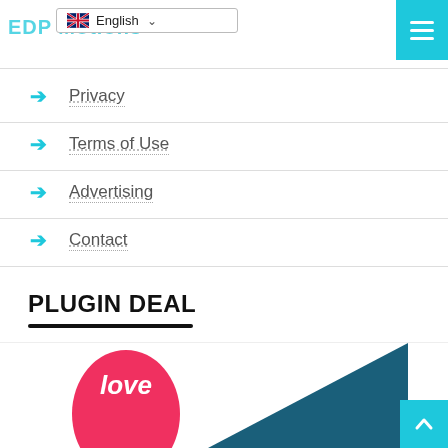EDP Motions
Privacy
Terms of Use
Advertising
Contact
PLUGIN DEAL
[Figure (illustration): Pink circular logo with white italic text 'love' partially visible at bottom, alongside a teal dark triangular graphic shape]